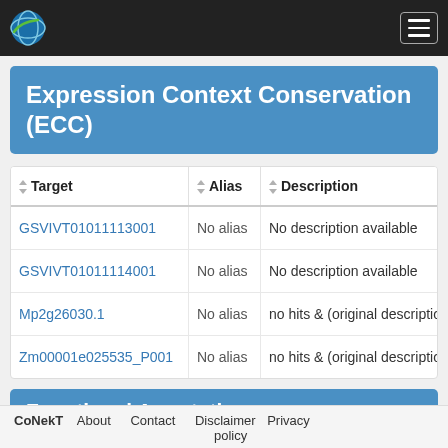CoNekT navigation bar with logo and hamburger menu
Expression Context Conservation (ECC)
| Target | Alias | Description |
| --- | --- | --- |
| GSVIVT01011113001 | No alias | No description available |
| GSVIVT01011114001 | No alias | No description available |
| Mp2g26030.1 | No alias | no hits & (original descriptio... |
| Zm00001e025535_P001 | No alias | no hits & (original descriptio... |
Functional Annotation
CoNekT   About   Contact   Disclaimer   Privacy policy